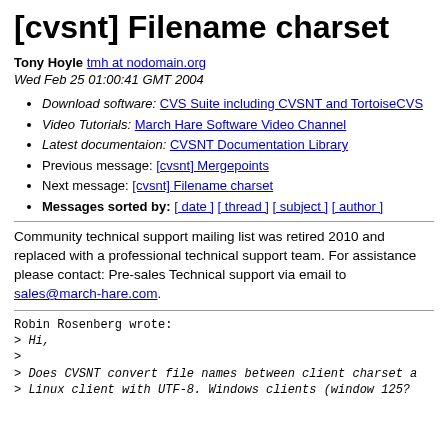[cvsnt] Filename charset
Tony Hoyle tmh at nodomain.org
Wed Feb 25 01:00:41 GMT 2004
Download software: CVS Suite including CVSNT and TortoiseCVS
Video Tutorials: March Hare Software Video Channel
Latest documentaion: CVSNT Documentation Library
Previous message: [cvsnt] Mergepoints
Next message: [cvsnt] Filename charset
Messages sorted by: [ date ] [ thread ] [ subject ] [ author ]
Community technical support mailing list was retired 2010 and replaced with a professional technical support team. For assistance please contact: Pre-sales Technical support via email to sales@march-hare.com.
Robin Rosenberg wrote:
> Hi,
>
> Does CVSNT convert file names between client charset a
> Linux client with UTF-8. Windows clients (window 125?